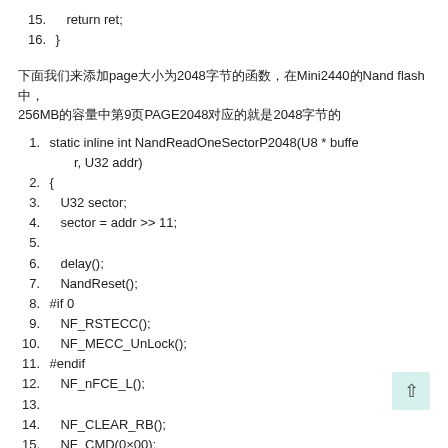15.    return ret;
16. }
下面我们来添加page大小为2048字节的函数，在Mini2440的Nand flash中，256MB的容量中第9页PAGE2048对应的就是2048字节的
1. static inline int NandReadOneSectorP2048(U8 * buffer, U32 addr)
2. {
3.    U32 sector;
4.    sector = addr >> 11;
5.
6.    delay();
7.    NandReset();
8. #if 0
9.    NF_RSTECC();
10.    NF_MECC_UnLock();
11. #endif
12.    NF_nFCE_L();
13.
14.    NF_CLEAR_RB();
15.    NF_CMD(0×00);